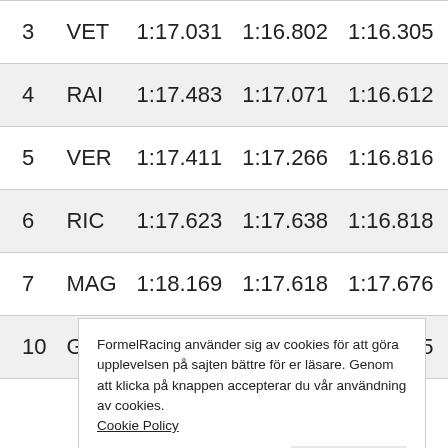| Pos | Driver | Q1 | Q2 | Q3 |
| --- | --- | --- | --- | --- |
| 3 | VET | 1:17.031 | 1:16.802 | 1:16.305 |
| 4 | RAI | 1:17.483 | 1:17.071 | 1:16.612 |
| 5 | VER | 1:17.411 | 1:17.266 | 1:16.816 |
| 6 | RIC | 1:17.623 | 1:17.638 | 1:16.818 |
| 7 | MAG | 1:18.169 | 1:17.618 | 1:17.676 |
| 10 | GRO | 1:18.305 | 1:17.699 | 1:17.835 |
FormelRacing använder sig av cookies för att göra upplevelsen på sajten bättre för er läsare. Genom att klicka på knappen accepterar du vår användning av cookies. Cookie Policy